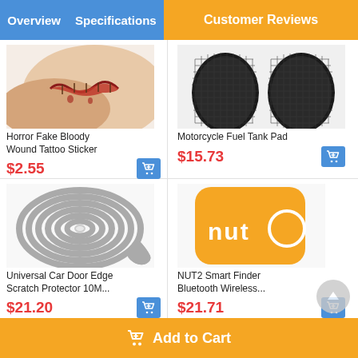Overview  Specifications  Customer Reviews
[Figure (photo): Horror fake bloody wound tattoo sticker product photo showing a fake wound on skin]
Horror Fake Bloody Wound Tattoo Sticker
$2.55
[Figure (photo): Motorcycle Fuel Tank Pad product photo showing black non-slip grip pads]
Motorcycle Fuel Tank Pad
$15.73
[Figure (photo): Universal Car Door Edge Scratch Protector 10M rolled gray rubber strip coil]
Universal Car Door Edge Scratch Protector 10M...
$21.20
[Figure (photo): NUT2 Smart Finder Bluetooth Wireless tracker device, orange square rounded shape with nut logo]
NUT2 Smart Finder Bluetooth Wireless...
$21.71
Add to Cart